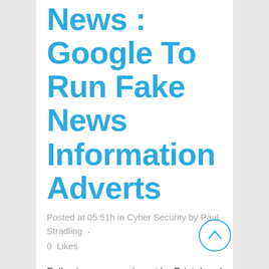News : Google To Run Fake News Information Adverts
Posted at 05:51h in Cyber Security by Paul Stradling · 0 Likes
Following an experiment by Bristol and Cambridge Universities, Google has announced that it plans to run